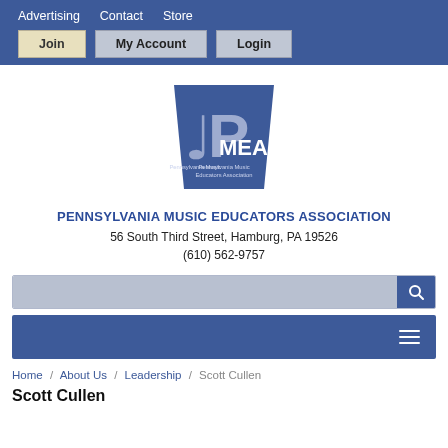Advertising  Contact  Store
Join  My Account  Login
[Figure (logo): PMEA - Pennsylvania Music Educators Association logo: blue keystone shape with treble clef and letters PMEA]
PENNSYLVANIA MUSIC EDUCATORS ASSOCIATION
56 South Third Street, Hamburg, PA 19526
(610) 562-9757
Search bar
Navigation menu (hamburger)
Home / About Us / Leadership / Scott Cullen
Scott Cullen